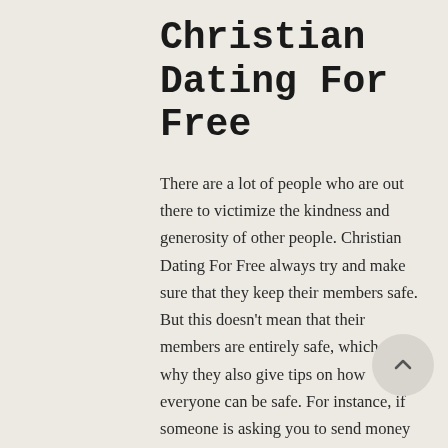Christian Dating For Free
There are a lot of people who are out there to victimize the kindness and generosity of other people. Christian Dating For Free always try and make sure that they keep their members safe. But this doesn't mean that their members are entirely safe, which is why they also give tips on how everyone can be safe. For instance, if someone is asking you to send money or buy something from them, then it would be best to ignore them. You can also report them by contacting Christian Dating For Free. All you have to do is go to the Contact Us page and send the